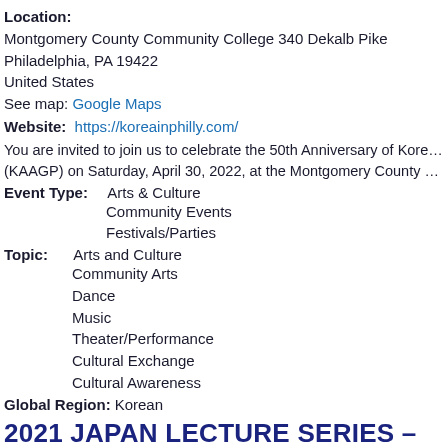Location:
Montgomery County Community College 340 Dekalb Pike
Philadelphia, PA 19422
United States
See map: Google Maps
Website:  https://koreainphilly.com/
You are invited to join us to celebrate the 50th Anniversary of Korean American (KAAGP) on Saturday, April 30, 2022, at the Montgomery County Community C
Event Type:  Arts & Culture
Community Events
Festivals/Parties
Topic:  Arts and Culture
Community Arts
Dance
Music
Theater/Performance
Cultural Exchange
Cultural Awareness
Global Region:  Korean
2021 JAPAN LECTURE SERIES – SHOFUSO JAPANESE GEM
Date:  2/18/2021 6:00pm - 8:00pm
Website:  https://www.japansocietypa.org